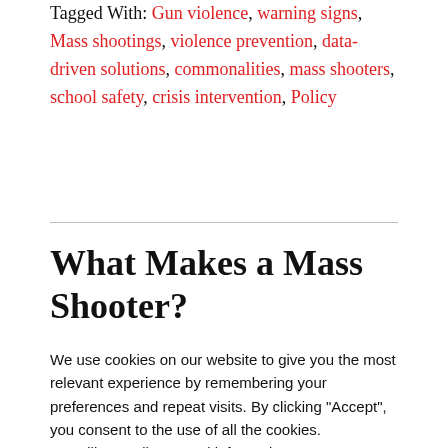Tagged With: Gun violence, warning signs, Mass shootings, violence prevention, data-driven solutions, commonalities, mass shooters, school safety, crisis intervention, Policy
What Makes a Mass Shooter?
We use cookies on our website to give you the most relevant experience by remembering your preferences and repeat visits. By clicking "Accept", you consent to the use of all the cookies. We will not sell personal information.